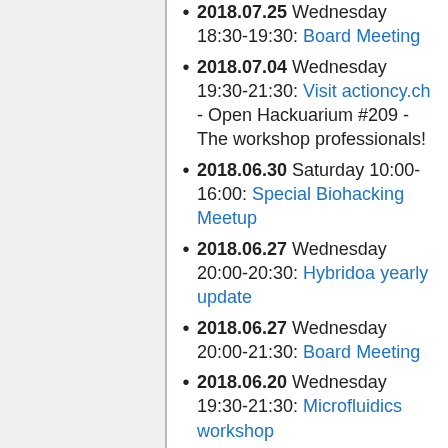2018.07.25 Wednesday 18:30-19:30: Board Meeting
2018.07.04 Wednesday 19:30-21:30: Visit actioncy.ch - Open Hackuarium #209 - The workshop professionals!
2018.06.30 Saturday 10:00-16:00: Special Biohacking Meetup
2018.06.27 Wednesday 20:00-20:30: Hybridoa yearly update
2018.06.27 Wednesday 20:00-21:30: Board Meeting
2018.06.20 Wednesday 19:30-21:30: Microfluidics workshop
2018.06.01 Friday afternoon: GMO Detective Workshop - presented by Guy Aidelberg from CRI Paris. Bring your food and discover if it contains GMOs.
2018.05.31 Thursday 18:30-